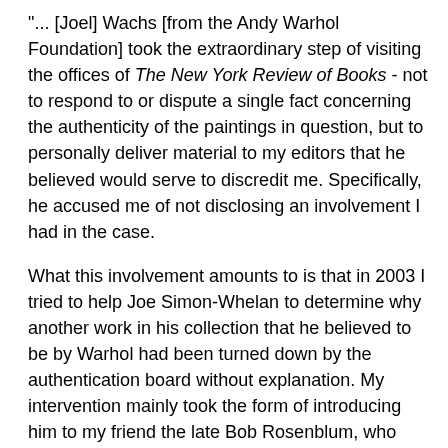"... [Joel] Wachs [from the Andy Warhol Foundation] took the extraordinary step of visiting the offices of The New York Review of Books - not to respond to or dispute a single fact concerning the authenticity of the paintings in question, but to personally deliver material to my editors that he believed would serve to discredit me. Specifically, he accused me of not disclosing an involvement I had in the case.
What this involvement amounts to is that in 2003 I tried to help Joe Simon-Whelan to determine why another work in his collection that he believed to be by Warhol had been turned down by the authentication board without explanation. My intervention mainly took the form of introducing him to my friend the late Bob Rosenblum, who was then a member of the board, with the idea that Bob might be able to tell Simon-Whelan what the problem was. Given the board's policy of